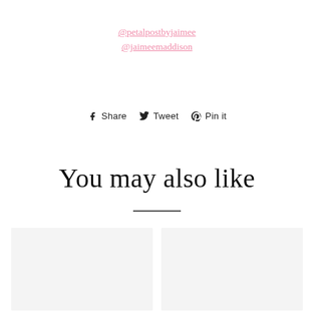@petalpostbyjaimee
@jaimeemaddison
Share   Tweet   Pin it
You may also like
[Figure (photo): Two product thumbnail placeholder images side by side with light grey backgrounds]